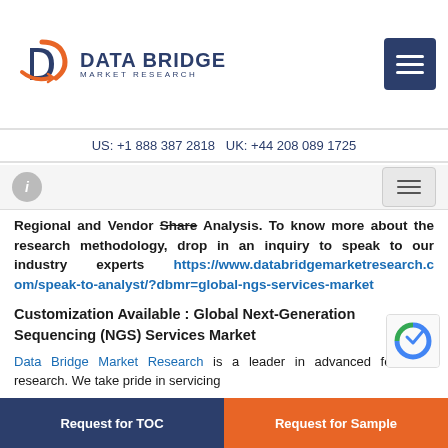DATA BRIDGE MARKET RESEARCH | US: +1 888 387 2818 UK: +44 208 089 1725
Regional and Vendor Share Analysis. To know more about the research methodology, drop in an inquiry to speak to our industry experts https://www.databridgemarketresearch.com/speak-to-analyst/?dbmr=global-ngs-services-market
Customization Available : Global Next-Generation Sequencing (NGS) Services Market
Data Bridge Market Research is a leader in advanced formative research. We take pride in servicing
Request for TOC | Request for Sample